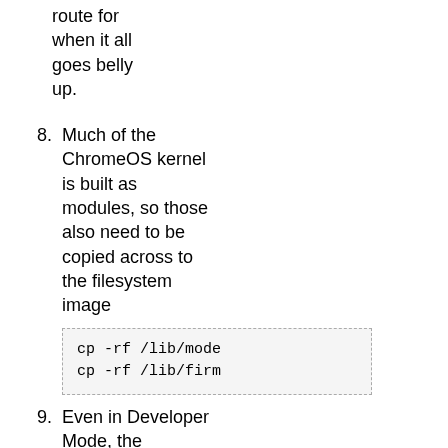route for when it all goes belly up.
8. Much of the ChromeOS kernel is built as modules, so those also need to be copied across to the filesystem image
cp -rf /lib/modules
cp -rf /lib/firmware
9. Even in Developer Mode, the Chromebook will ignore the SD/USB card when booting, unless explicitly told to look at